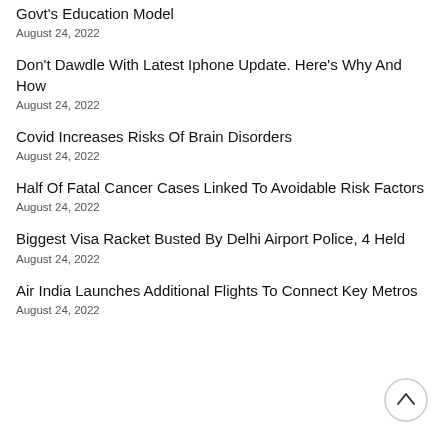Govt's Education Model
August 24, 2022
Don't Dawdle With Latest Iphone Update. Here's Why And How
August 24, 2022
Covid Increases Risks Of Brain Disorders
August 24, 2022
Half Of Fatal Cancer Cases Linked To Avoidable Risk Factors
August 24, 2022
Biggest Visa Racket Busted By Delhi Airport Police, 4 Held
August 24, 2022
Air India Launches Additional Flights To Connect Key Metros
August 24, 2022